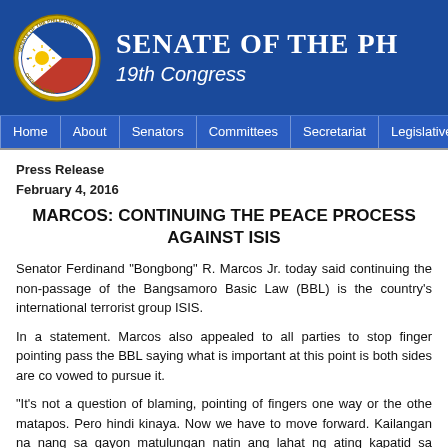[Figure (logo): Senate of the Philippines official seal logo in header]
Senate of the Philippines – 19th Congress
Home | About | Senators | Committees | Secretariat | Legislative Documents
Press Release
February 4, 2016
MARCOS: CONTINUING THE PEACE PROCESS... AGAINST ISIS
Senator Ferdinand "Bongbong" R. Marcos Jr. today said continuing the non-passage of the Bangsamoro Basic Law (BBL) is the country's international terrorist group ISIS.
In a statement. Marcos also appealed to all parties to stop finger pointing pass the BBL saying what is important at this point is both sides are co vowed to pursue it.
"It's not a question of blaming, pointing of fingers one way or the othe matapos. Pero hindi kinaya. Now we have to move forward. Kailangan na nang sa gayon matulungan natin ang lahat ng ating kapatid sa Mindanao,
He said achieving peace in Mindanao is the country's best bet against IS the Philippines through Mindanao.